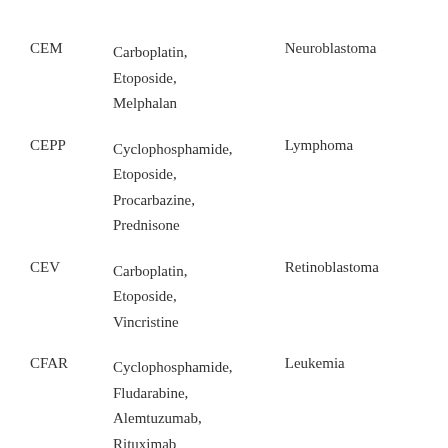| CEM | Carboplatin, Etoposide, Melphalan | Neuroblastoma |
| CEPP | Cyclophosphamide, Etoposide, Procarbazine, Prednisone | Lymphoma |
| CEV | Carboplatin, Etoposide, Vincristine | Retinoblastoma |
| CFAR | Cyclophosphamide, Fludarabine, Alemtuzumab, Rituximab | Leukemia |